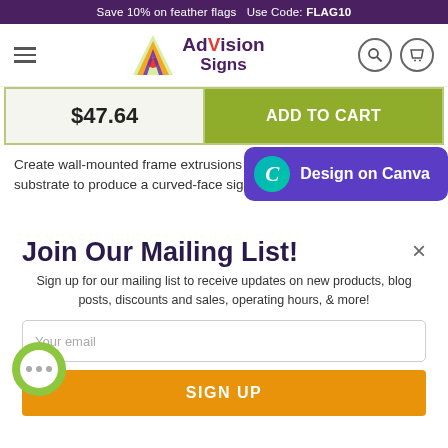Save 10% on feather flags   Use Code: FLAG10
[Figure (logo): AdVision Signs logo with hamburger menu, logo mark, search and cart icons]
| Price | Action |
| --- | --- |
| $47.64 | ADD TO CART |
[Figure (screenshot): Design on Canva button overlay with teal Canva C icon on purple background]
Create wall-mounted frame extrusions using any flat, flexible substrate to produce a curved-face sign.
STANDARD HEIGHTS AVAILABLE (ALL
Join Our Mailing List!
Sign up for our mailing list to receive updates on new products, blog posts, discounts and sales, operating hours, & more!
Your email
SIGN UP